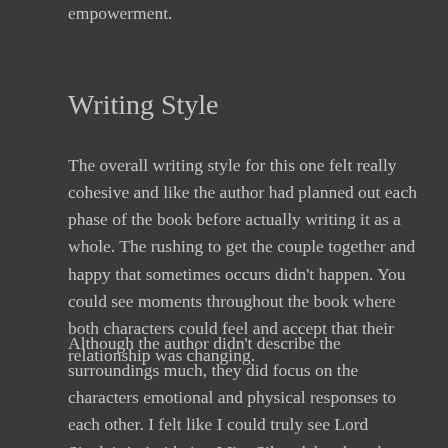empowerment.
Writing Style
The overall writing style for this one felt really cohesive and like the author had planned out each phase of the book before actually writing it as a whole. The rushing to get the couple together and happy that sometimes occurs didn't happen. You could see moments throughout the book where both characters could feel and accept that their relationship was changing.
Although the author didn't describe the surroundings much, they did focus on the characters emotional and physical responses to each other. I felt like I could truly see Lord Sinclair intimidating Miss Silverdale when they first met. Whenever they were having a moment, I could